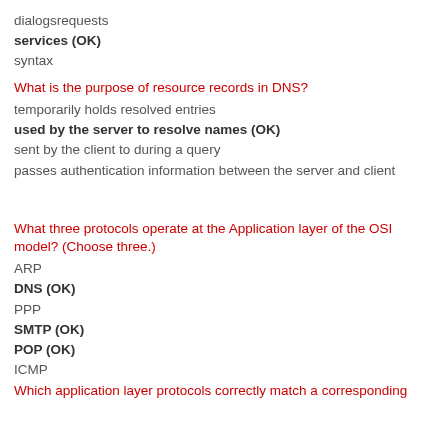dialogsrequests
services (OK)
syntax
What is the purpose of resource records in DNS?
temporarily holds resolved entries
used by the server to resolve names (OK)
sent by the client to during a query
passes authentication information between the server and client
What three protocols operate at the Application layer of the OSI model? (Choose three.)
ARP
DNS (OK)
PPP
SMTP (OK)
POP (OK)
ICMP
Which application layer protocols correctly match a corresponding